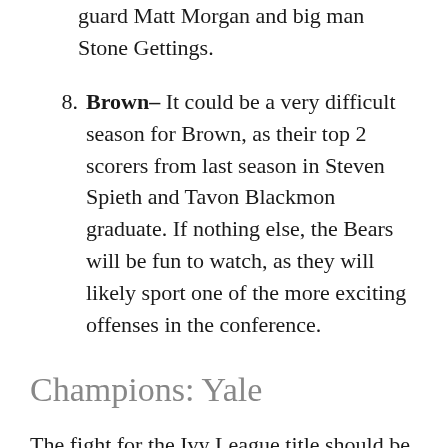guard Matt Morgan and big man Stone Gettings.
8. Brown– It could be a very difficult season for Brown, as their top 2 scorers from last season in Steven Spieth and Tavon Blackmon graduate. If nothing else, the Bears will be fun to watch, as they will likely sport one of the more exciting offenses in the conference.
Champions: Yale
The fight for the Ivy League title should be super fun to watch, but I am rolling with the